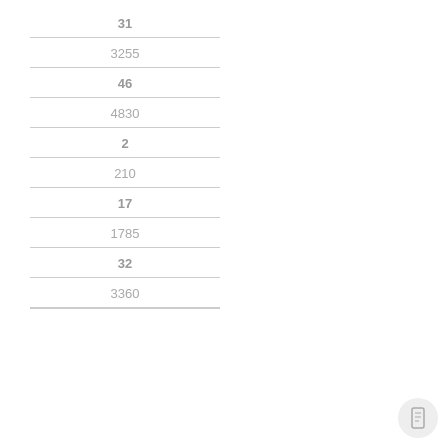| 31 |
| 3255 |
| 46 |
| 4830 |
| 2 |
| 210 |
| 17 |
| 1785 |
| 32 |
| 3360 |